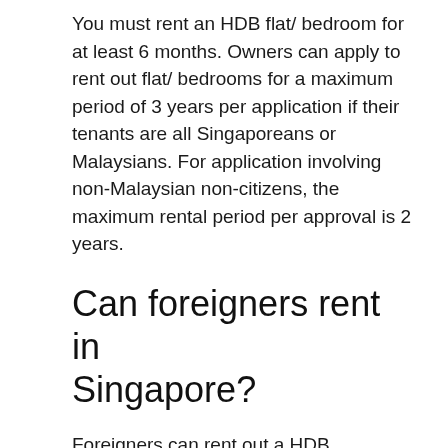You must rent an HDB flat/ bedroom for at least 6 months. Owners can apply to rent out flat/ bedrooms for a maximum period of 3 years per application if their tenants are all Singaporeans or Malaysians. For application involving non-Malaysian non-citizens, the maximum rental period per approval is 2 years.
Can foreigners rent in Singapore?
Foreigners can rent out a HDB apartment or a room although this is dependent on HDB's quota for the block. A minimum of six months' stay is required. For private